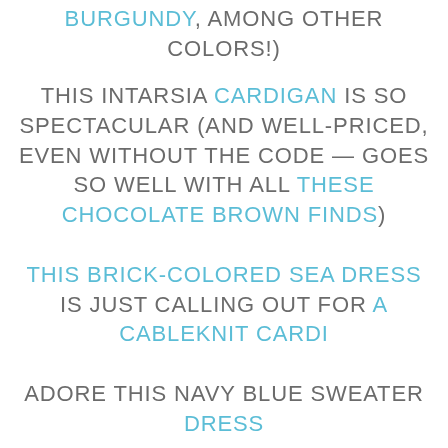BURGUNDY, AMONG OTHER COLORS!)
THIS INTARSIA CARDIGAN IS SO SPECTACULAR (AND WELL-PRICED, EVEN WITHOUT THE CODE — GOES SO WELL WITH ALL THESE CHOCOLATE BROWN FINDS)
THIS BRICK-COLORED SEA DRESS IS JUST CALLING OUT FOR A CABLEKNIT CARDI
ADORE THIS NAVY BLUE SWEATER DRESS
OBSESSED WITH THESE TWO FASHION